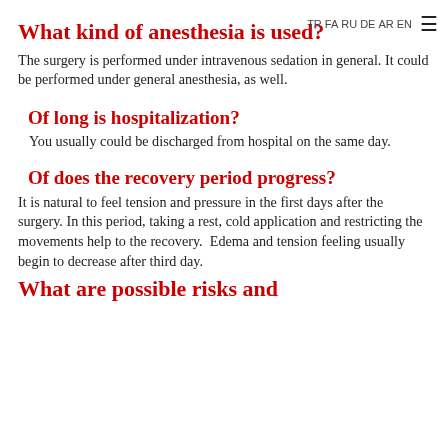What kind of anesthesia is used?
TR FA RU DE AR EN
The surgery is performed under intravenous sedation in general. It could be performed under general anesthesia, as well.
Of long is hospitalization?
You usually could be discharged from hospital on the same day.
Of does the recovery period progress?
It is natural to feel tension and pressure in the first days after the surgery. In this period, taking a rest, cold application and restricting the movements help to the recovery. Edema and tension feeling usually begin to decrease after third day.
What are possible risks and